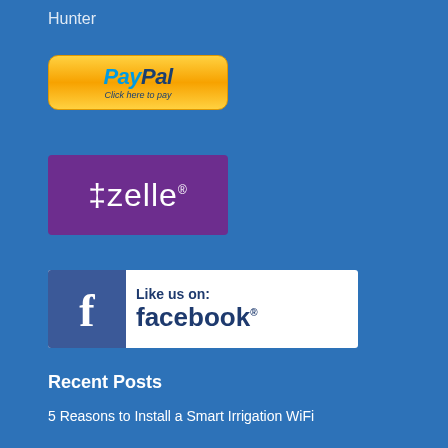Hunter
[Figure (logo): PayPal button with gold gradient background reading 'PayPal Click here to pay']
[Figure (logo): Zelle logo on purple background with white text 'zelle' and registered trademark symbol]
[Figure (logo): Facebook 'Like us on: facebook.' button with white background, blue Facebook icon and text]
Recent Posts
5 Reasons to Install a Smart Irrigation WiFi